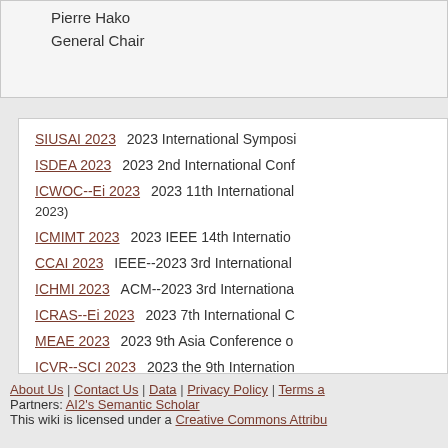Pierre Hako
General Chair
SIUSAI 2023   2023 International Symposi...
ISDEA 2023   2023 2nd International Conf...
ICWOC--Ei 2023   2023 11th International... 2023)
ICMIMT 2023   2023 IEEE 14th Internation...
CCAI 2023   IEEE--2023 3rd International...
ICHMI 2023   ACM--2023 3rd Internationa...
ICRAS--Ei 2023   2023 7th International C...
MEAE 2023   2023 9th Asia Conference o...
ICVR--SCI 2023   2023 the 9th Internation...
ICRoM--EI 2023   2023 the 6th Internation...
About Us | Contact Us | Data | Privacy Policy | Terms a...
Partners: AI2's Semantic Scholar
This wiki is licensed under a Creative Commons Attribu...